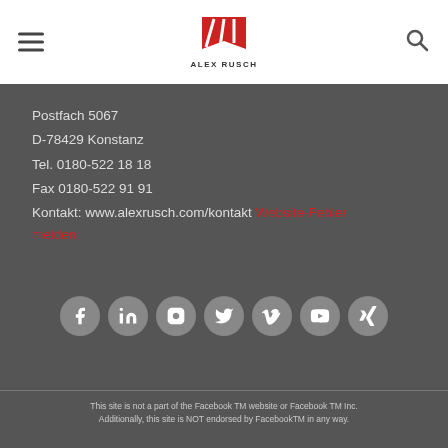Alex Rusch logo with hamburger menu and search icon
Postfach 5067
D-78429 Konstanz
Tel. 0180-522 18 18
Fax 0180-522 91 91
Kontakt: www.alexrusch.com/kontakt Website-Fehler melden
[Figure (other): Row of 7 social media icons: Facebook, LinkedIn, Instagram, Twitter, Vimeo, YouTube, Xing]
This site is not a part of the Facebook TM website or Facebook TM Inc. Additionally, this site is NOT endorsed by FacebookTM in any way.